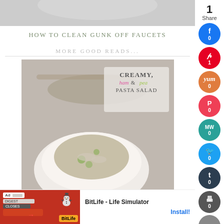[Figure (photo): Top portion of a tutorial image about cleaning faucets]
HOW TO CLEAN GUNK OFF FAUCETS
MORE GOOD READS...
[Figure (photo): Creamy Ham and Pea Pasta Salad food photo with bowl of pasta]
CREAMY HAM AND PEA PASTA SALAD
[Figure (photo): Bottom food photo partially visible, text reads 'perfect deli-style']
[Figure (screenshot): BitLife - Life Simulator advertisement banner at the bottom]